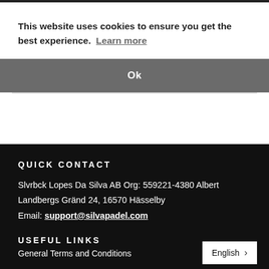This website uses cookies to ensure you get the best experience.  Learn more
Ok
QUICK CONTACT
Slvrbck Lopes Da Silva AB Org: 559221-4380 Albert Landbergs Gränd 24, 16570 Hässelby
Email: support@silvapadel.com
USEFUL LINKS
General Terms and Conditions